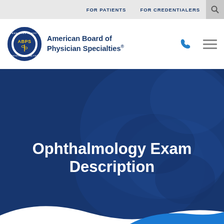FOR PATIENTS   FOR CREDENTIALERS
[Figure (logo): American Board of Physician Specialties circular seal/logo with ABPS lettering and caduceus]
American Board of Physician Specialties®
[Figure (photo): Dark blue hero banner with a background photo of hands overlaid with a deep blue transparent overlay]
Ophthalmology Exam Description